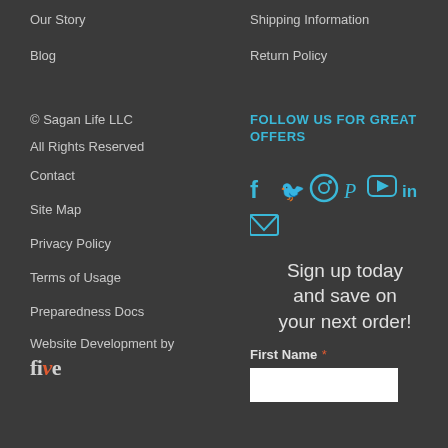Our Story
Blog
Shipping Information
Return Policy
© Sagan Life LLC
All Rights Reserved
Contact
Site Map
Privacy Policy
Terms of Usage
Preparedness Docs
Website Development by
five
FOLLOW US FOR GREAT OFFERS
[Figure (infographic): Social media icons: Facebook, Twitter, Instagram, Pinterest, YouTube, LinkedIn, and email envelope icon in blue/teal color]
Sign up today and save on your next order!
First Name *
(input field)